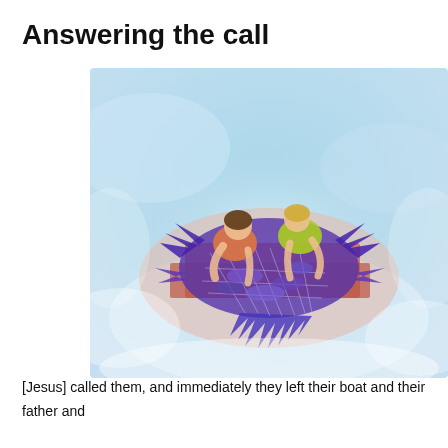Answering the call
[Figure (illustration): A digital illustration of two figures bending over a fishing net filled with fish, set against a soft blue sky and water background with purple and blue fish visible in the net.]
[Jesus] called them, and immediately they left their boat and their father and followed him. Matthew 4:21-22